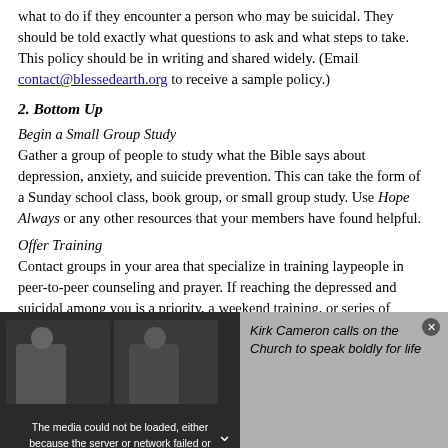what to do if they encounter a person who may be suicidal. They should be told exactly what questions to ask and what steps to take. This policy should be in writing and shared widely. (Email contact@blessedearth.org to receive a sample policy.)
2. Bottom Up
Begin a Small Group Study
Gather a group of people to study what the Bible says about depression, anxiety, and suicide prevention. This can take the form of a Sunday school class, book group, or small group study. Use Hope Always or any other resources that your members have found helpful.
Offer Training
Contact groups in your area that specialize in training laypeople in peer-to-peer counseling and prayer. If reaching the depressed and suicidal among you is a priority, a weekend training, or series of weekly trainings, can greatly expand your capacity to help. Also,
[Figure (screenshot): Media player overlay showing error message 'The media could not be loaded, either because the server or network failed or because the format is not supported.' on a dark background with two video thumbnails on the left side. On the right side a gray panel shows text 'Kirk Cameron calls on the Church to speak boldly for life' in italic. A close button (x) is in the top right corner. A downward arrow is visible at the bottom center.]